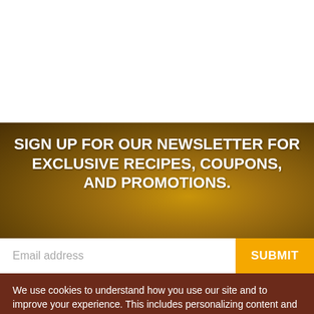[Figure (photo): Top white area and brown textured background with baked goods/bread crumbs texture]
SIGN UP FOR OUR NEWSLETTER FOR EXCLUSIVE RECIPES, COUPONS, AND PROMOTIONS.
Email address
SUBMIT
We use cookies to understand how you use our site and to improve your experience. This includes personalizing content and advertising. By continuing to use our site, you accept our use of cookies and revised Privacy Policy.
Accept
X